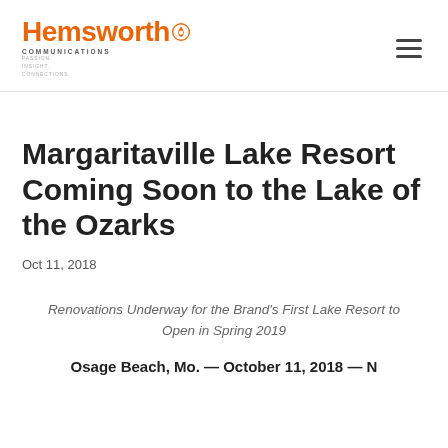Hemsworth Communications
Margaritaville Lake Resort Coming Soon to the Lake of the Ozarks
Oct 11, 2018
Renovations Underway for the Brand's First Lake Resort to Open in Spring 2019
Osage Beach, Mo. — October 11, 2018 — N…